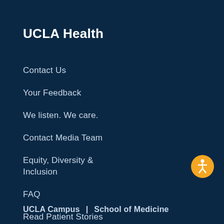UCLA Health
Contact Us
Your Feedback
We listen. We care.
Contact Media Team
Equity, Diversity & Inclusion
FAQ
Read Patient Stories
Download Our Apps
[Figure (illustration): Yellow circular accessibility icon with white person/wheelchair figure]
UCLA Campus   |   School of Medicine